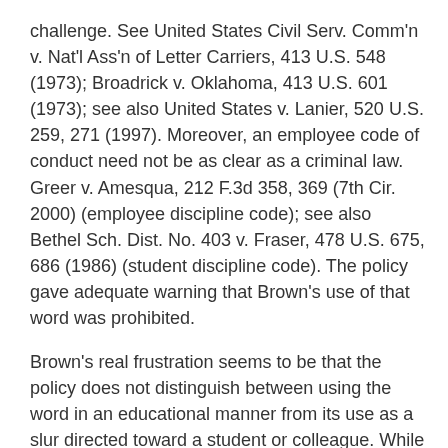challenge. See United States Civil Serv. Comm'n v. Nat'l Ass'n of Letter Carriers, 413 U.S. 548 (1973); Broadrick v. Oklahoma, 413 U.S. 601 (1973); see also United States v. Lanier, 520 U.S. 259, 271 (1997). Moreover, an employee code of conduct need not be as clear as a criminal law. Greer v. Amesqua, 212 F.3d 358, 369 (7th Cir. 2000) (employee discipline code); see also Bethel Sch. Dist. No. 403 v. Fraser, 478 U.S. 675, 686 (1986) (student discipline code). The policy gave adequate warning that Brown's use of that word was prohibited.
Brown's real frustration seems to be that the policy does not distinguish between using the word in an educational manner from its use as a slur directed toward a student or colleague. While we understand his frustration, his only solace is in Justice Scalia's stamp. Regardless of what he believes the Policy should be, the Policy in force forbids using such language “in front of students,” rather than